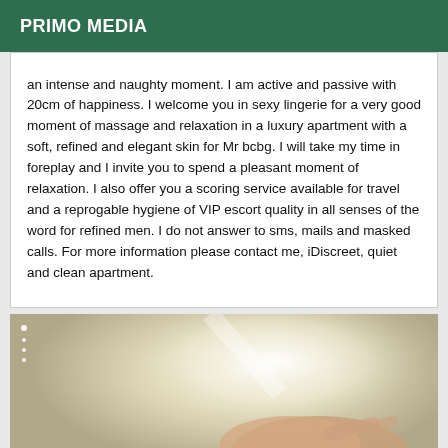PRIMO MEDIA
an intense and naughty moment. I am active and passive with 20cm of happiness. I welcome you in sexy lingerie for a very good moment of massage and relaxation in a luxury apartment with a soft, refined and elegant skin for Mr bcbg. I will take my time in foreplay and I invite you to spend a pleasant moment of relaxation. I also offer you a scoring service available for travel and a reprogable hygiene of VIP escort quality in all senses of the word for refined men. I do not answer to sms, mails and masked calls. For more information please contact me, iDiscreet, quiet and clean apartment.
[Figure (photo): A blurry close-up photo showing a hand against a light background with soft lighting]